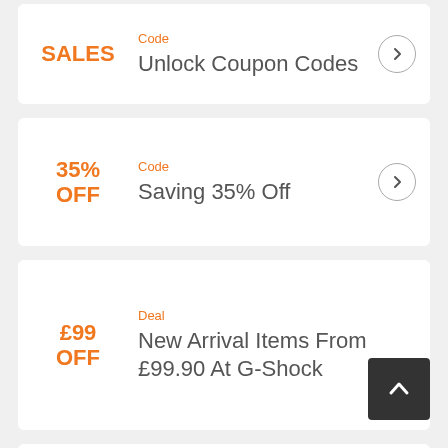SALES
Code
Unlock Coupon Codes
35% OFF
Code
Saving 35% Off
£99 OFF
Deal
New Arrival Items From £99.90 At G-Shock